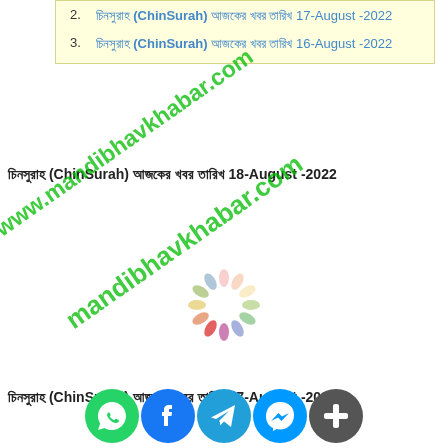2. চিনসুরাহ (ChinSurah) আজকের খবর তারিখ 17-August -2022
3. চিনসুরাহ (ChinSurah) আজকের খবর তারিখ 16-August -2022
চিনসুরাহ (ChinSurah) আজকের খবর তারিখ 18-August -2022
[Figure (other): Loading spinner animation with colorful petals in a circular arrangement, overlaid with www.mandibhavkhabar.com watermark text in green]
চিনসুরাহ (ChinSurah) আজকের খবর তারিখ 17-August -2022
[Figure (other): Social media sharing bar with WhatsApp, Facebook, Telegram, Messenger, and Add icons]